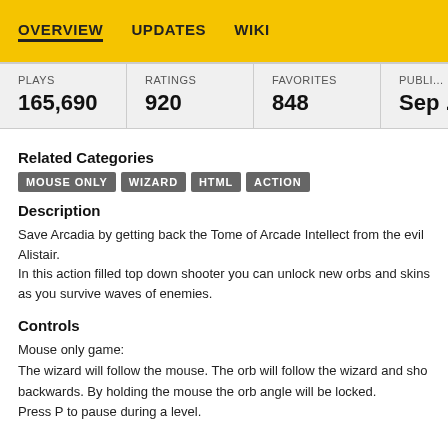OVERVIEW   UPDATES   WIKI
| PLAYS | RATINGS | FAVORITES | PUBLI... |
| --- | --- | --- | --- |
| 165,690 | 920 | 848 | Sep ... |
Related Categories
MOUSE ONLY
WIZARD
HTML
ACTION
Description
Save Arcadia by getting back the Tome of Arcade Intellect from the evil Alistair.
In this action filled top down shooter you can unlock new orbs and skins as you survive waves of enemies.
Controls
Mouse only game:
The wizard will follow the mouse. The orb will follow the wizard and sho backwards. By holding the mouse the orb angle will be locked.
Press P to pause during a level.